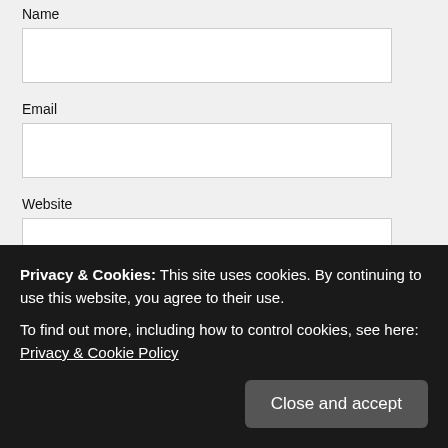Name
Email
Website
POST COMMENT
This site uses Akismet to reduce spam. Learn how your comment data is processed.
Privacy & Cookies: This site uses cookies. By continuing to use this website, you agree to their use. To find out more, including how to control cookies, see here: Privacy & Cookie Policy
Close and accept
Keep journalism alive & reporters awake